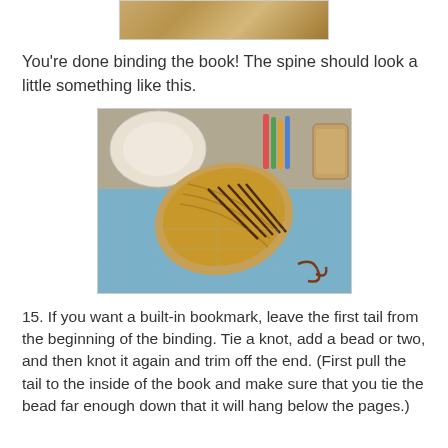[Figure (photo): Top cropped photo showing marbled/wood-grain texture, partial view of book binding]
You're done binding the book! The spine should look a little something like this.
[Figure (photo): Photo of a leather-bound book spine with stitching visible, lying on a blue cutting mat with craft supplies in background and loose brown thread/cord visible]
15. If you want a built-in bookmark, leave the first tail from the beginning of the binding. Tie a knot, add a bead or two, and then knot it again and trim off the end. (First pull the tail to the inside of the book and make sure that you tie the bead far enough down that it will hang below the pages.)